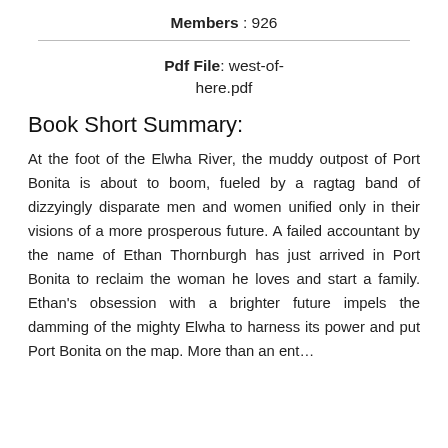Members : 926
Pdf File: west-of-here.pdf
Book Short Summary:
At the foot of the Elwha River, the muddy outpost of Port Bonita is about to boom, fueled by a ragtag band of dizzyingly disparate men and women unified only in their visions of a more prosperous future. A failed accountant by the name of Ethan Thornburgh has just arrived in Port Bonita to reclaim the woman he loves and start a family. Ethan’s obsession with a brighter future impels the damming of the mighty Elwha to harness its power and put Port Bonita on the map. More than an ent…